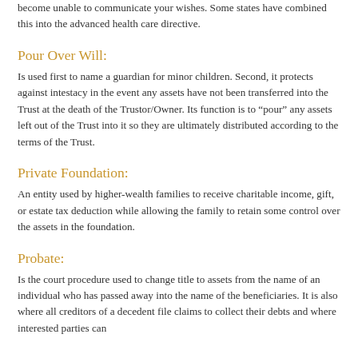become unable to communicate your wishes. Some states have combined this into the advanced health care directive.
Pour Over Will:
Is used first to name a guardian for minor children. Second, it protects against intestacy in the event any assets have not been transferred into the Trust at the death of the Trustor/Owner. Its function is to “pour” any assets left out of the Trust into it so they are ultimately distributed according to the terms of the Trust.
Private Foundation:
An entity used by higher-wealth families to receive charitable income, gift, or estate tax deduction while allowing the family to retain some control over the assets in the foundation.
Probate:
Is the court procedure used to change title to assets from the name of an individual who has passed away into the name of the beneficiaries. It is also where all creditors of a decedent file claims to collect their debts and where interested parties can